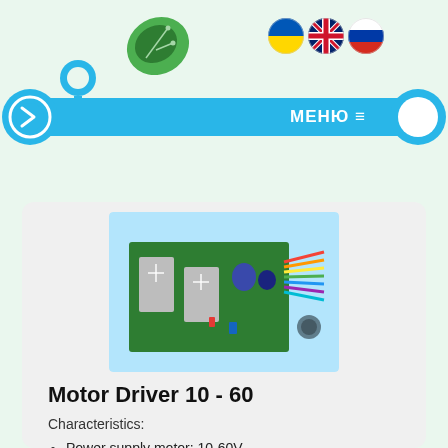[Figure (logo): Green leaf logo with circuit board pattern and navigation icons (Ukrainian, UK, Russian flags)]
[Figure (photo): Motor driver PCB board (10-60V) with heatsinks, capacitors, and wiring connectors on light blue background]
Motor Driver 10 - 60
Characteristics:
Power supply motor: 10-60V
Power supply circuits: 5